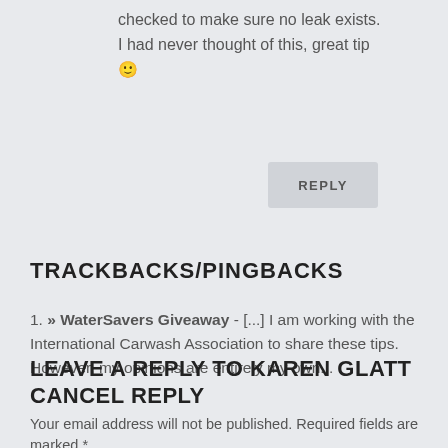checked to make sure no leak exists. I had never thought of this, great tip 🙂
REPLY
TRACKBACKS/PINGBACKS
1. » WaterSavers Giveaway - [...] I am working with the International Carwash Association to share these tips. However, my opinions are entirely my own...
LEAVE A REPLY TO KAREN GLATT CANCEL REPLY
Your email address will not be published. Required fields are marked *